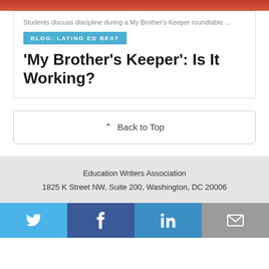Students discuss discipline during a My Brother's Keeper roundtable ...
BLOG: LATINO ED BEAT
‘My Brother’s Keeper’: Is It Working?
⌃  Back to Top
Education Writers Association
1825 K Street NW, Suite 200, Washington, DC 20006